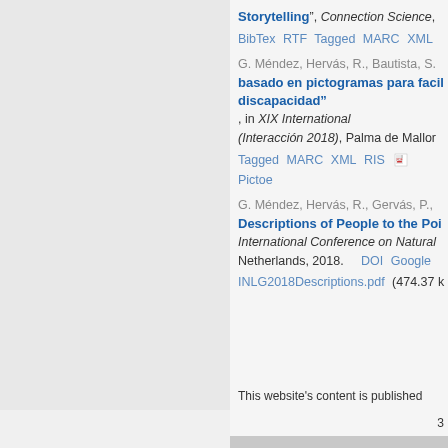Storytelling", Connection Science,
BibTex RTF Tagged MARC XML
G. Méndez, Hervás, R., Bautista, S.
basado en pictogramas para facil discapacidad", in XIX International (Interacción 2018), Palma de Mallor
Tagged MARC XML RIS Pictoe
G. Méndez, Hervás, R., Gervás, P.,
Descriptions of People to the Poi International Conference on Natural Netherlands, 2018.
DOI Google INLG2018Descriptions.pdf (474.37 k
This website's content is published